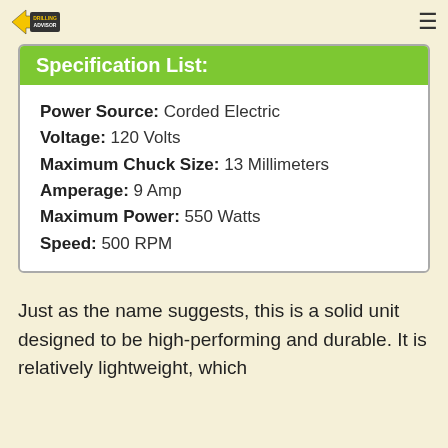Drilling Advisor logo and navigation
Specification List:
Power Source: Corded Electric
Voltage: 120 Volts
Maximum Chuck Size: 13 Millimeters
Amperage: 9 Amp
Maximum Power: 550 Watts
Speed: 500 RPM
Just as the name suggests, this is a solid unit designed to be high-performing and durable. It is relatively lightweight, which means that it will not tire you out...